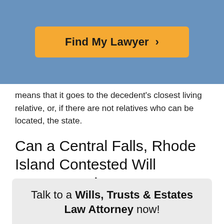[Figure (other): Blue header bar with an orange 'Find My Lawyer >' button]
means that it goes to the decedent's closest living relative, or, if there are not relatives who can be located, the state.
Can a Central Falls, Rhode Island Contested Will Attorney Help?
Contesting a will is often hard, and never fun. However, the whole process can be made more bearable if you have the help of a reliable Central Falls, Rhode Island attorney, and the process will probably be much more manageable.
Talk to a Wills, Trusts & Estates Law Attorney now!